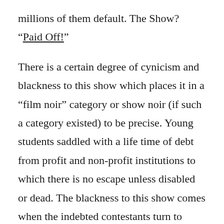millions of them default. The Show? “Paid Off!”
There is a certain degree of cynicism and blackness to this show which places it in a “film noir” category or show noir (if such a category existed) to be precise. Young students saddled with a life time of debt from profit and non-profit institutions to which there is no escape unless disabled or dead. The blackness to this show comes when the indebted contestants turn to answering zany questions taken from stranger categories in the hope of eliminating their student loan debt which should not be such a burden if they could work in the field they were trained or educated in and make enough to pay off the debt. If delinquent, the burden